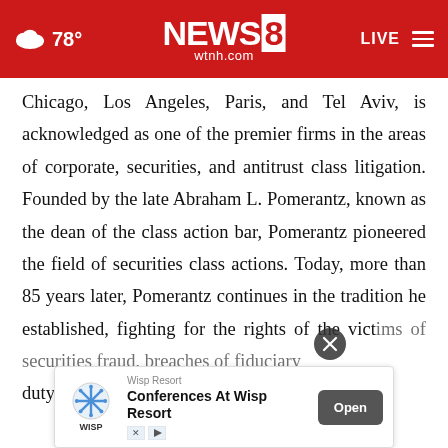NEWS 8 wtnh.com | 78° | LIVE
Chicago, Los Angeles, Paris, and Tel Aviv, is acknowledged as one of the premier firms in the areas of corporate, securities, and antitrust class litigation. Founded by the late Abraham L. Pomerantz, known as the dean of the class action bar, Pomerantz pioneered the field of securities class actions. Today, more than 85 years later, Pomerantz continues in the tradition he established, fighting for the rights of the victims of securities fraud, breaches of fiduciary duty, … has